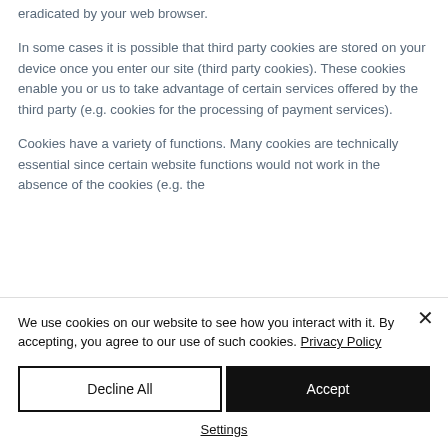eradicated by your web browser.
In some cases it is possible that third party cookies are stored on your device once you enter our site (third party cookies). These cookies enable you or us to take advantage of certain services offered by the third party (e.g. cookies for the processing of payment services).
Cookies have a variety of functions. Many cookies are technically essential since certain website functions would not work in the absence of the cookies (e.g. the
We use cookies on our website to see how you interact with it. By accepting, you agree to our use of such cookies. Privacy Policy
Decline All
Accept
Settings